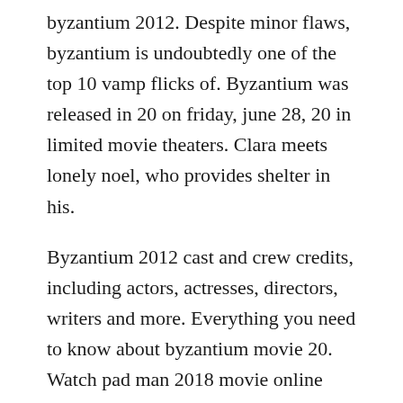byzantium 2012. Despite minor flaws, byzantium is undoubtedly one of the top 10 vamp flicks of. Byzantium was released in 20 on friday, june 28, 20 in limited movie theaters. Clara meets lonely noel, who provides shelter in his.
Byzantium 2012 cast and crew credits, including actors, actresses, directors, writers and more. Everything you need to know about byzantium movie 20. Watch pad man 2018 movie online pad man could be a fictionalized account of padmashri arunachalam